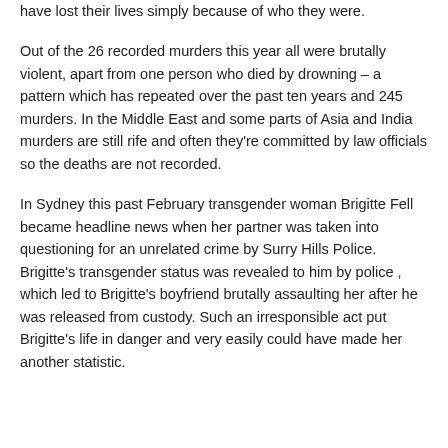have lost their lives simply because of who they were.
Out of the 26 recorded murders this year all were brutally violent, apart from one person who died by drowning – a pattern which has repeated over the past ten years and 245 murders. In the Middle East and some parts of Asia and India murders are still rife and often they're committed by law officials so the deaths are not recorded.
In Sydney this past February transgender woman Brigitte Fell became headline news when her partner was taken into questioning for an unrelated crime by Surry Hills Police. Brigitte's transgender status was revealed to him by police , which led to Brigitte's boyfriend brutally assaulting her after he was released from custody. Such an irresponsible act put Brigitte's life in danger and very easily could have made her another statistic.